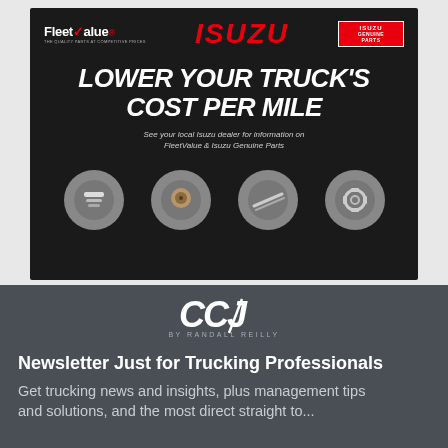[Figure (illustration): Isuzu FleetValue advertisement on dark background. Header shows FleetValue logo, ISUZU text in red, and ISUZU GENUINE PARTS badge. Large bold italic white text reads 'LOWER YOUR TRUCK'S COST PER MILE'. Subtext: 'See your local Isuzu dealer for information on FleetValue & Isuzu Genuine Parts'. Bottom row shows four circular icons with truck parts images (filters, drum, wiper blades, brake pads).]
[Figure (logo): CCJ by Randall Reilly logo in white on dark gray background]
Newsletter Just for Trucking Professionals
Get trucking news and insights, plus management tips and solutions, and the most direct straight to...